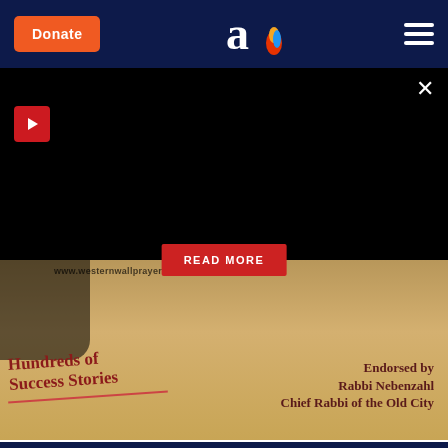Donate | [Aish logo] | [Menu]
[Figure (screenshot): Website header with orange Donate button, Aish.com logo (letter a with flame), and hamburger menu on dark navy background]
[Figure (screenshot): Black overlay panel with red play button in top-left, close X in top-right, and red READ MORE button centered]
[Figure (photo): Western Wall prayer site advertisement showing stone plaza, person praying, text 'Hundreds of Success Stories' and 'Endorsed by Rabbi Nebenzahl Chief Rabbi of the Old City', URL www.westernwallprayers.org]
[Figure (screenshot): Bottom of page showing start of 'Daily' advertisement on dark navy background with green text and coin/coin jar icon]